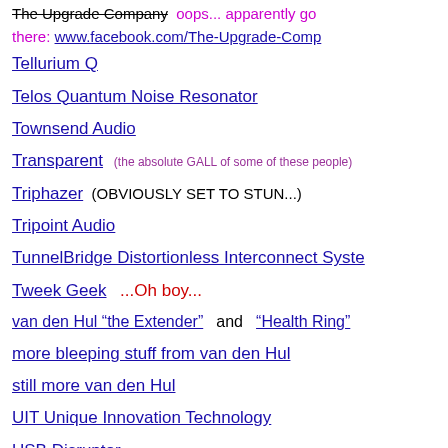The Upgrade Company oops... apparently go there: www.facebook.com/The-Upgrade-Comp
Tellurium Q
Telos Quantum Noise Resonator
Townsend Audio
Transparent (the absolute GALL of some of these people)
Triphazer (OBVIOUSLY SET TO STUN...)
Tripoint Audio
TunnelBridge Distortionless Interconnect Syste
Tweek Geek ...Oh boy...
van den Hul "the Extender" and "Health Ring"
more bleeping stuff from van den Hul
still more van den Hul
UIT Unique Innovation Technology
USB Disruptor
Vertex Quiescent Peak Cabling System Here